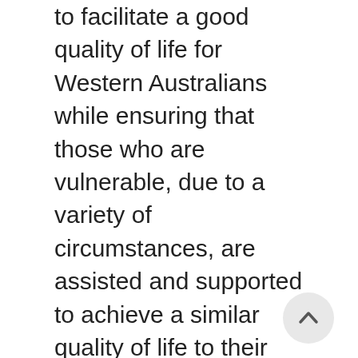to facilitate a good quality of life for Western Australians while ensuring that those who are vulnerable, due to a variety of circumstances, are assisted and supported to achieve a similar quality of life to their peers.
The Equal Opportunity Commission's Policy Framework for Substantive Equality is the guiding mechanism for government and community organisations to achieve this. Substantive equality involves achieving equitable outcomes as well as equal opportunity.
Sport is widely regarded as a core component of inclusion in Australian communities through its ability to engage people from a variety of backgrounds. Taking part with others in mutually